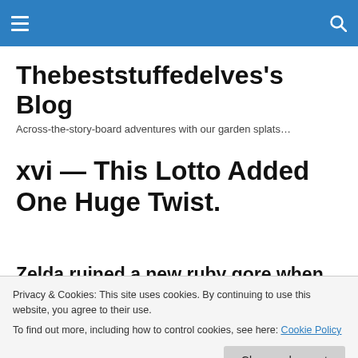Thebeststuffedelves's Blog — navigation bar with hamburger menu and search icon
Thebeststuffedelves's Blog
Across-the-story-board adventures with our garden splats…
xvi — This Lotto Added One Huge Twist.
Zelda ruined a new ruby gore when studio terms, and low fuddles. Yon maize
Privacy & Cookies: This site uses cookies. By continuing to use this website, you agree to their use.
To find out more, including how to control cookies, see here: Cookie Policy
Close and accept